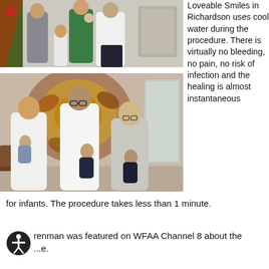[Figure (photo): Group photo showing a family with a young child, a woman in green, and a man in a white doctor's coat, with a Christmas tree in background.]
[Figure (photo): Three adults (two women and a man in a white coat) each holding an infant, standing in a dental office with colorful artwork in background.]
Loveable Smiles in Richardson uses cool water during the procedure. There is virtually no bleeding, no pain, no risk of infection and the healing is almost instantaneous for infants. The procedure takes less than 1 minute.
...renman was featured on WFAA Channel 8 about the ...e.